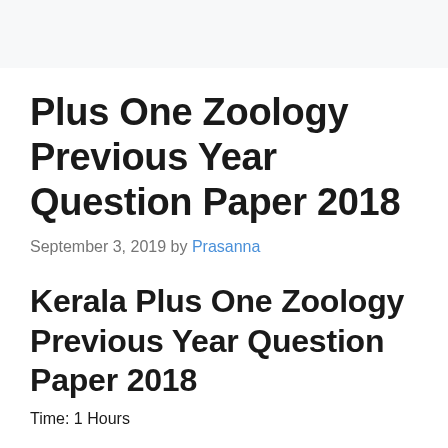Plus One Zoology Previous Year Question Paper 2018
September 3, 2019 by Prasanna
Kerala Plus One Zoology Previous Year Question Paper 2018
Time: 1 Hours